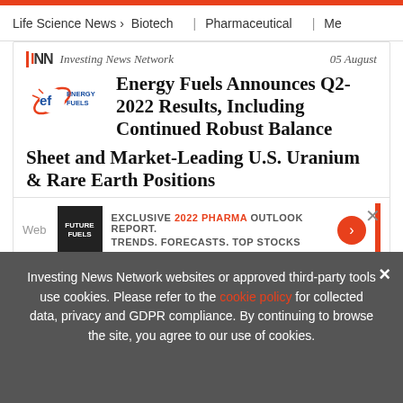Life Science News > Biotech | Pharmaceutical | Me
[Figure (logo): Energy Fuels logo with stylized EF initials and orbital ring]
INN Investing News Network  05 August
Energy Fuels Announces Q2-2022 Results, Including Continued Robust Balance Sheet and Market-Leading U.S. Uranium & Rare Earth Positions
[Figure (infographic): Ad banner: EXCLUSIVE 2022 PHARMA OUTLOOK REPORT. TRENDS. FORECASTS. TOP STOCKS. with orange arrow button]
Investing News Network websites or approved third-party tools use cookies. Please refer to the cookie policy for collected data, privacy and GDPR compliance. By continuing to browse the site, you agree to our use of cookies.